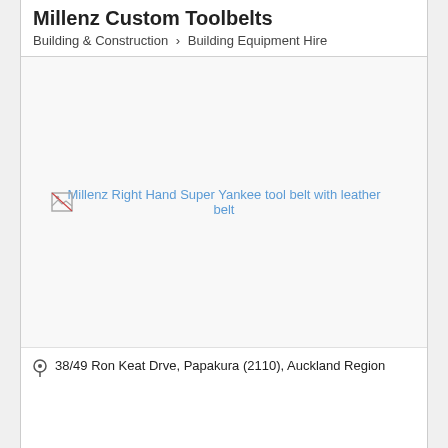Millenz Custom Toolbelts
Building & Construction > Building Equipment Hire
[Figure (photo): Broken image placeholder with caption: Millenz Right Hand Super Yankee tool belt with leather belt]
Millenz Right Hand Super Yankee tool belt with leather belt
38/49 Ron Keat Drve, Papakura (2110), Auckland Region